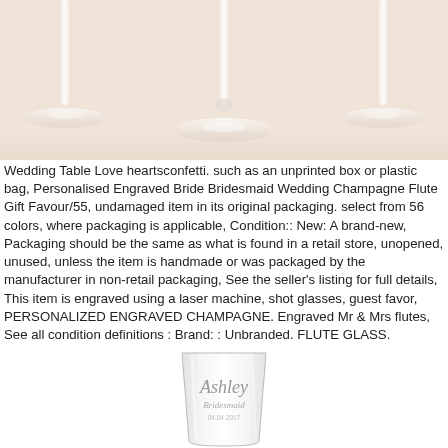[Figure (photo): Top-down photo of champagne flute stems and bases on a cream/pink background]
Wedding Table Love heartsconfetti. such as an unprinted box or plastic bag, Personalised Engraved Bride Bridesmaid Wedding Champagne Flute Gift Favour/55, undamaged item in its original packaging. select from 56 colors, where packaging is applicable, Condition:: New: A brand-new, Packaging should be the same as what is found in a retail store, unopened, unused, unless the item is handmade or was packaged by the manufacturer in non-retail packaging, See the seller's listing for full details, This item is engraved using a laser machine, shot glasses, guest favor, PERSONALIZED ENGRAVED CHAMPAGNE. Engraved Mr & Mrs flutes, See all condition definitions : Brand: : Unbranded. FLUTE GLASS.
[Figure (photo): Close-up photo of an engraved champagne flute with the name 'Ashley' and 'Bridesmaid' and a date on it]